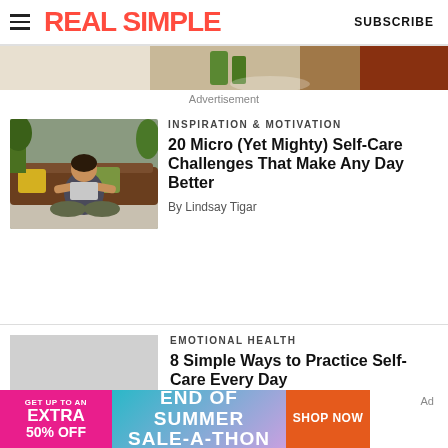REAL SIMPLE | SUBSCRIBE
[Figure (photo): Partial food/ingredient photo used as advertisement image strip]
Advertisement
[Figure (photo): Woman in meditation pose sitting cross-legged on floor in front of a brown leather couch with pillows]
INSPIRATION & MOTIVATION
20 Micro (Yet Mighty) Self-Care Challenges That Make Any Day Better
By Lindsay Tigar
[Figure (photo): Light gray placeholder image for emotional health article]
EMOTIONAL HEALTH
8 Simple Ways to Practice Self-Care Every Day (Because You Deserve It
[Figure (infographic): End of Summer Sale-A-Thon promotional banner ad: GET UP TO AN EXTRA 50% OFF | END OF SUMMER SALE-A-THON | SHOP NOW]